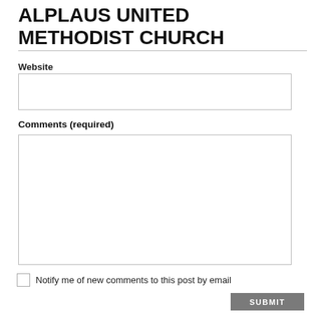ALPLAUS UNITED METHODIST CHURCH
Website
Comments (required)
Notify me of new comments to this post by email
SUBMIT